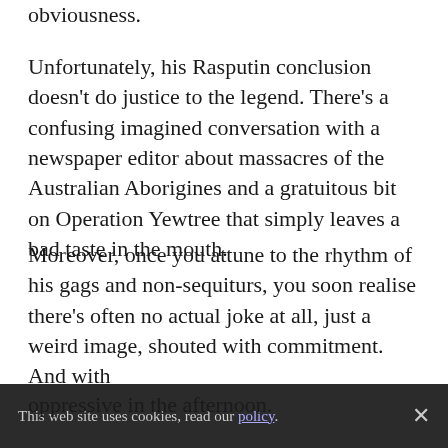obviousness.
Unfortunately, his Rasputin conclusion doesn't do justice to the legend. There's a confusing imagined conversation with a newspaper editor about massacres of the Australian Aborigines and a gratuitous bit on Operation Yewtree that simply leaves a bad taste in the mouth.
Moreover, once you attune to the rhythm of his gags and non-sequiturs, you soon realise there's often no actual joke at all, just a weird image, shouted with commitment. And with
oppressive in the afternoon.
This web site uses cookies, read our policy.